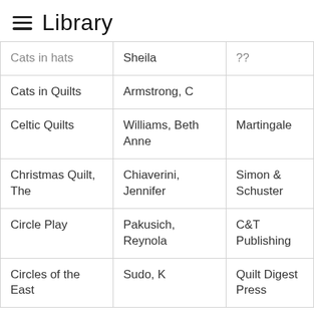Library
| Cats in hats | Sheila | ?? |
| Cats in Quilts | Armstrong, C |  |
| Celtic Quilts | Williams, Beth Anne | Martingale |
| Christmas Quilt, The | Chiaverini, Jennifer | Simon & Schuster |
| Circle Play | Pakusich, Reynola | C&T Publishing |
| Circles of the East | Sudo, K | Quilt Digest Press |